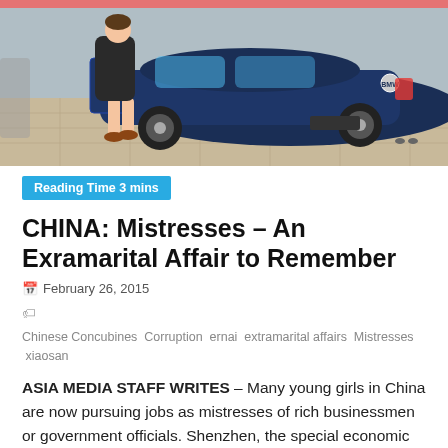[Figure (photo): A woman in a short dress stepping out of a dark blue BMW luxury car on a tiled surface.]
Reading Time 3 mins
CHINA: Mistresses – An Exramarital Affair to Remember
February 26, 2015
Chinese Concubines  Corruption  ernai  extramarital affairs  Mistresses  xiaosan
ASIA MEDIA STAFF WRITES – Many young girls in China are now pursuing jobs as mistresses of rich businessmen or government officials. Shenzhen, the special economic zone of China, along with Beijing, Shanghai, and Guangzhou, are cities